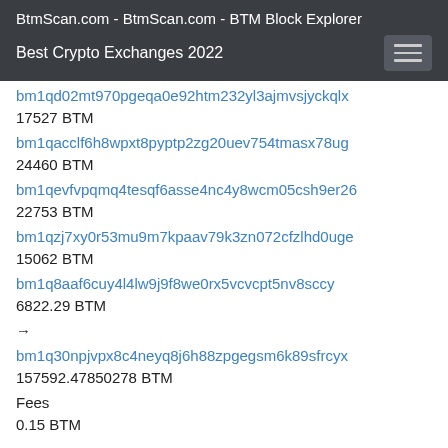BtmScan.com - BtmScan.com - BTM Block Explorer
Best Crypto Exchanges 2022
bm1qd02mt970pgeqa0e92htm232yl3ajmvsjyckqlx
17527 BTM
bm1qacclf6h8wpxt8pyptp2zg20uev754tmasx78ug
24460 BTM
bm1qevfvpqmq4tesqf6asse4nc4y8wcm05csh9er26
22753 BTM
bm1qzj7xy0r53mu9m7kpaav79k3zn072cfzlhd0uge
15062 BTM
bm1q8aaf6cuy4l4lw9j9f8we0rx5vcvcpt5nv8sccy
6822.29 BTM
→
bm1q30npjvpx8c4neyq8j6h88zpgegsm6k89sfrcyx
157592.47850278 BTM
Fees
0.15 BTM